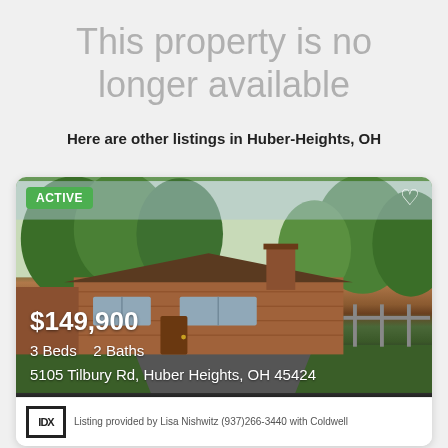This property is no longer available
Here are other listings in Huber-Heights, OH
[Figure (photo): Exterior photo of a single-story brick ranch house with large trees, chimney, and driveway. Green ACTIVE badge in top-left, heart icon in top-right.]
$149,900
3 Beds   2 Baths
5105 Tilbury Rd, Huber Heights, OH 45424
Listing provided by Lisa Nishwitz (937)266-3440 with Coldwell